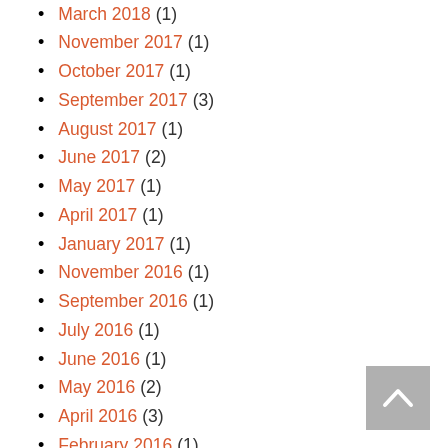March 2018 (1)
November 2017 (1)
October 2017 (1)
September 2017 (3)
August 2017 (1)
June 2017 (2)
May 2017 (1)
April 2017 (1)
January 2017 (1)
November 2016 (1)
September 2016 (1)
July 2016 (1)
June 2016 (1)
May 2016 (2)
April 2016 (3)
February 2016 (1)
December 2015 (1)
September 2015 (1)
July 2015 (2)
April 2015 (1)